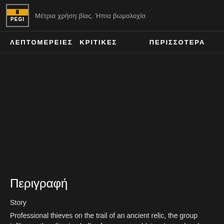[Figure (logo): PEGI rating badge with orange top bar and white PEGI text]
Μέτρια χρήση βίας. Ήπια βωμολοχία
ΛΕΠΤΟΜΕΡΕΙΕΣ
ΚΡΙΤΙΚΕΣ
ΠΕΡΙΣΣΟΤΕΡΑ
Περιγραφή
Story
Professional thieves on the trail of an ancient relic, the group infiltrates the glittering halls of a corrupt noble's private chambers in pursuit of their target, narrowly escaping the wrath